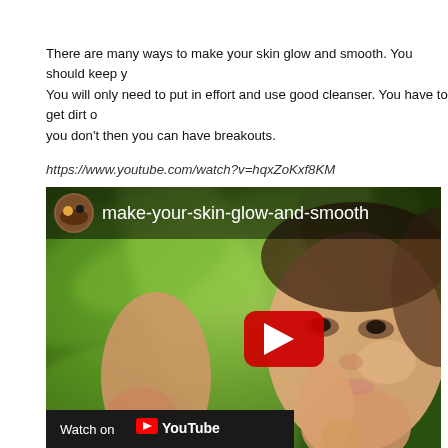There are many ways to make your skin glow and smooth. You should keep y You will only need to put in effort and use good cleanser. You have to get dirt o you don't then you can have breakouts.
https://www.youtube.com/watch?v=hqxZoKxf8KM
[Figure (screenshot): Embedded YouTube video thumbnail showing 'make-your-skin-glow-and-smooth' with a woman's face against a green leafy background, a red YouTube play button in the center, and a 'Watch on YouTube' bar at the bottom.]